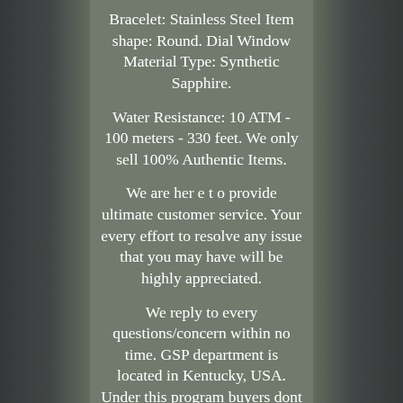Bracelet: Stainless Steel Item shape: Round. Dial Window Material Type: Synthetic Sapphire.
Water Resistance: 10 ATM - 100 meters - 330 feet. We only sell 100% Authentic Items.
We are her e t o provide ultimate customer service. Your every effort to resolve any issue that you may have will be highly appreciated.
We reply to every questions/concern within no time. GSP department is located in Kentucky, USA. Under this program buyers dont need to pay VAT & custom duty to their country's authorities.
Case will be opened for next 4 days. If buyers pay within specified time there will be no harm to you. The item "NEW Invicta Aviator Men's18K Rose Gold Plated Blue Dial Tachy S.
S Chrono Watch" is in sale since Saturday,